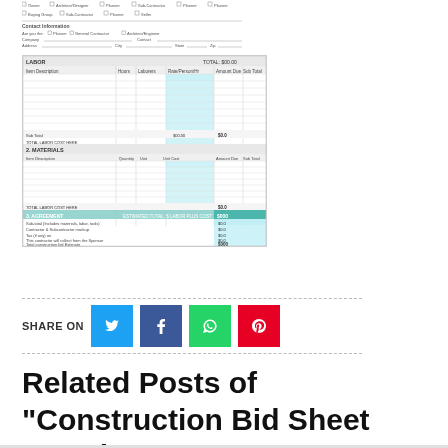[Figure (screenshot): Partial view of a construction bid sheet form showing contact information fields with checkboxes (Owner, Planner, General Contractor, Architect/Engineer) and form fields for company, address, phone, cell, fax, and email.]
[Figure (screenshot): Spreadsheet screenshot showing a Construction Bid Sheet Template with multiple sections including labor and materials rows, teal/cyan highlighted columns for costs, and summary rows at the bottom.]
SHARE ON
Related Posts of "Construction Bid Sheet Template"